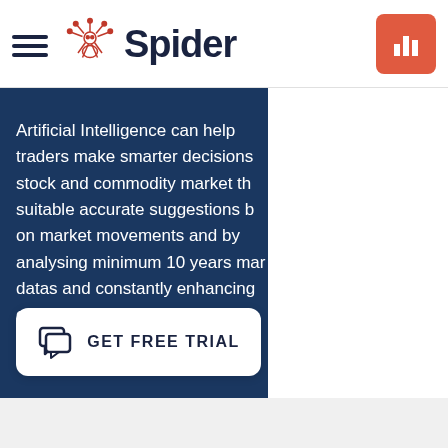Spider - navigation bar with hamburger menu, Spider logo, and chart button
Artificial Intelligence can help traders make smarter decisions stock and commodity market th suitable accurate suggestions b on market movements and by analysing minimum 10 years mar datas and constantly enhancing customer experience and accur
[Figure (other): GET FREE TRIAL button with chat icon]